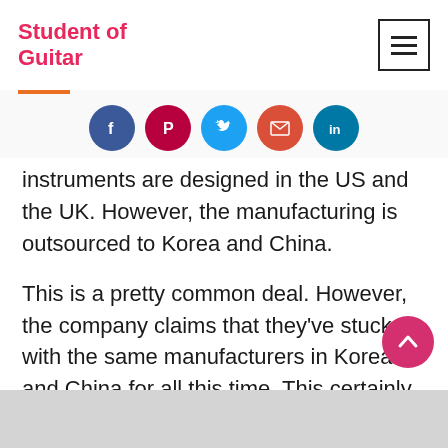Student of Guitar
[Figure (other): Social sharing icons: Facebook, Pinterest, Twitter, Email, LinkedIn]
instruments are designed in the US and the UK. However, the manufacturing is outsourced to Korea and China.
This is a pretty common deal. However, the company claims that they've stuck with the same manufacturers in Korea and China for all this time. This certainly boosts their consistency.